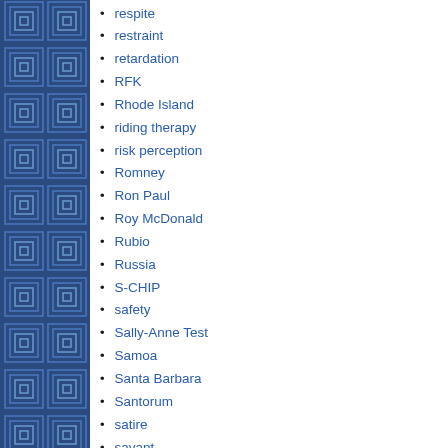respite
restraint
retardation
RFK
Rhode Island
riding therapy
risk perception
Romney
Ron Paul
Roy McDonald
Rubio
Russia
S-CHIP
safety
Sally-Anne Test
Samoa
Santa Barbara
Santorum
satire
savant
scams
scholarhips
scholarhips (continued)